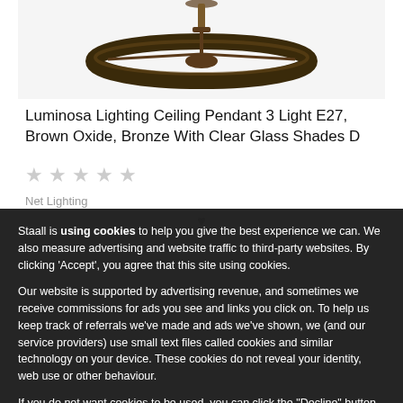[Figure (photo): Partial view of a ceiling pendant light fixture — brown oxide bronze ring shape visible from below against white background]
Luminosa Lighting Ceiling Pendant 3 Light E27, Brown Oxide, Bronze With Clear Glass Shades D
★ ★ ★ ★ ★
Net Lighting
Staall is using cookies to help you give the best experience we can. We also measure advertising and website traffic to third-party websites. By clicking 'Accept', you agree that this site using cookies.
Our website is supported by advertising revenue, and sometimes we receive commissions for ads you see and links you click on. To help us keep track of referrals we've made and ads we've shown, we (and our service providers) use small text files called cookies and similar technology on your device. These cookies do not reveal your identity, web use or other behaviour.
If you do not want cookies to be used, you can click the "Decline" button, but it may have an impact on the way you experience our website and others.
Accept   Decline